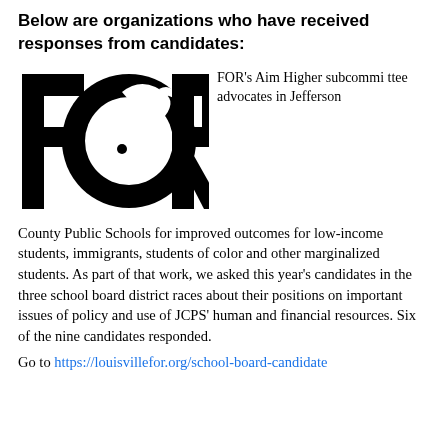Below are organizations who have received responses from candidates:
[Figure (logo): FOR logo — stylized letters F, O, R in black, with a dove/bird shape integrated into the O]
FOR's Aim Higher subcommittee advocates in Jefferson County Public Schools for improved outcomes for low-income students, immigrants, students of color and other marginalized students. As part of that work, we asked this year's candidates in the three school board district races about their positions on important issues of policy and use of JCPS' human and financial resources. Six of the nine candidates responded.
Go to https://louisvillefor.org/school-board-candidate